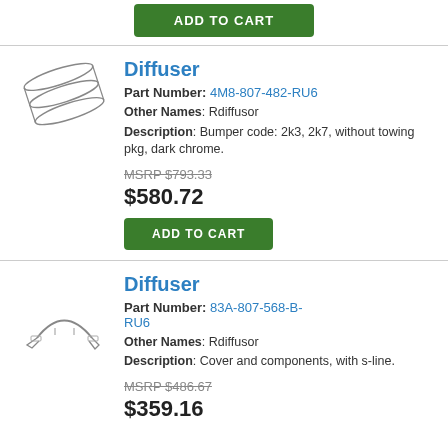[Figure (other): Green ADD TO CART button at top of page]
Diffuser
Part Number: 4M8-807-482-RU6
Other Names: Rdiffusor
Description: Bumper code: 2k3, 2k7, without towing pkg, dark chrome.
MSRP $793.33
$580.72
[Figure (illustration): Technical line drawing of a diffuser part (flat strips)]
[Figure (other): Green ADD TO CART button]
Diffuser
Part Number: 83A-807-568-B-RU6
Other Names: Rdiffusor
Description: Cover and components, with s-line.
MSRP $486.67
$359.16
[Figure (illustration): Technical line drawing of a diffuser bracket part]